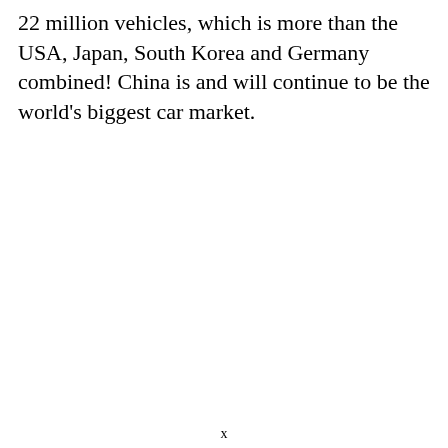22 million vehicles, which is more than the USA, Japan, South Korea and Germany combined! China is and will continue to be the world's biggest car market.
x